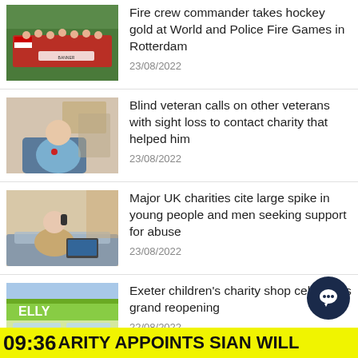[Figure (photo): Group photo of fire crew hockey team in red jerseys with Welsh flag and banner, on a sports pitch]
Fire crew commander takes hockey gold at World and Police Fire Games in Rotterdam
23/08/2022
[Figure (photo): Elderly blind veteran seated at a desk in a blue sweater, indoors]
Blind veteran calls on other veterans with sight loss to contact charity that helped him
23/08/2022
[Figure (photo): Person sitting on a bed talking on phone, with a laptop, in a bedroom]
Major UK charities cite large spike in young people and men seeking support for abuse
23/08/2022
[Figure (photo): Exterior of a charity shop with bright green signage and 'ELLY' visible]
Exeter children's charity shop celebrates grand reopening
22/08/2022
09:36 ARITY APPOINTS SIAN WILL